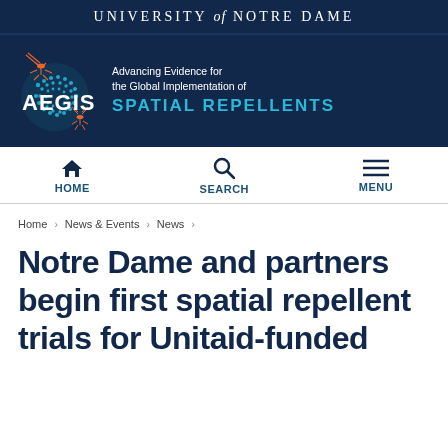UNIVERSITY of NOTRE DAME
[Figure (logo): AEGIS logo banner with mosquito illustration and teal dot globe. Text: AEGIS — Advancing Evidence for the Global Implementation of SPATIAL REPELLENTS]
HOME   SEARCH   MENU
Home › News & Events › News ›
Notre Dame and partners begin first spatial repellent trials for Unitaid-funded